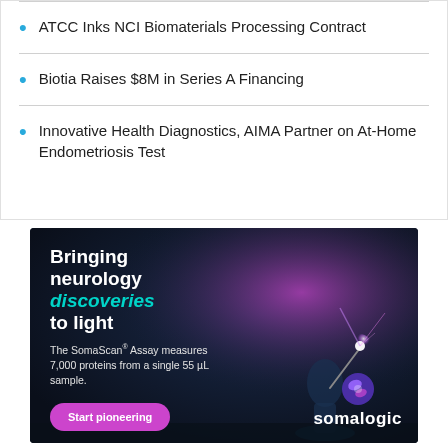ATCC Inks NCI Biomaterials Processing Contract
Biotia Raises $8M in Series A Financing
Innovative Health Diagnostics, AIMA Partner on At-Home Endometriosis Test
[Figure (illustration): SomaLogic advertisement with dark blue/purple background showing a figure holding a glowing light. Text reads: 'Bringing neurology discoveries to light. The SomaScan® Assay measures 7,000 proteins from a single 55 µL sample.' with a 'Start pioneering' button and the Somalogic logo.]